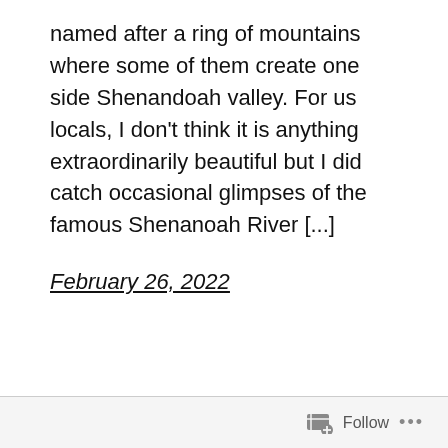named after a ring of mountains where some of them create one side Shenandoah valley. For us locals, I don't think it is anything extraordinarily beautiful but I did catch occasional glimpses of the famous Shenanoah River [...]
February 26, 2022
Follow ...